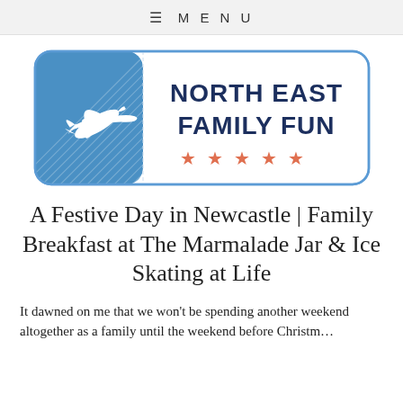≡ MENU
[Figure (logo): North East Family Fun logo: a ticket-shaped border with blue hatched left section containing a white airplane silhouette, and right section with dark navy bold text 'NORTH EAST FAMILY FUN' and five red/coral stars below]
A Festive Day in Newcastle | Family Breakfast at The Marmalade Jar & Ice Skating at Life
It dawned on me that we won't be spending another weekend altogether as a family until the weekend before Christmas